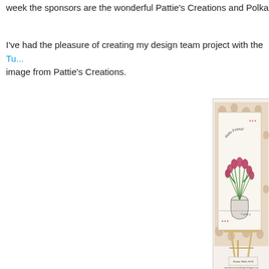week the sponsors are the wonderful Pattie's Creations and Polkado...
I've had the pleasure of creating my design team project with the Tu... image from Pattie's Creations.
[Figure (photo): A greeting card featuring a bouquet of pink tulips in a clear glass vase, with 'Hello Friend!' text arched at the top. The card sits on a floral patterned background and is displayed on a small wooden easel. Text at bottom reads 'Donna Walls 2018' and 'www.duncanstreetdesigns.blogspot.com'.]